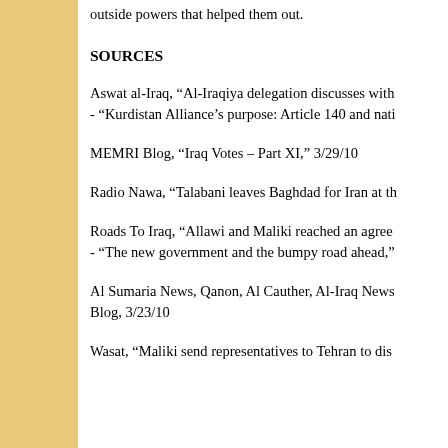outside powers that helped them out.
SOURCES
Aswat al-Iraq, “Al-Iraqiya delegation discusses with - “Kurdistan Alliance’s purpose: Article 140 and nati
MEMRI Blog, “Iraq Votes – Part XI,” 3/29/10
Radio Nawa, “Talabani leaves Baghdad for Iran at th
Roads To Iraq, “Allawi and Maliki reached an agree - “The new government and the bumpy road ahead,”
Al Sumaria News, Qanon, Al Cauther, Al-Iraq News Blog, 3/23/10
Wasat, “Maliki send representatives to Tehran to dis